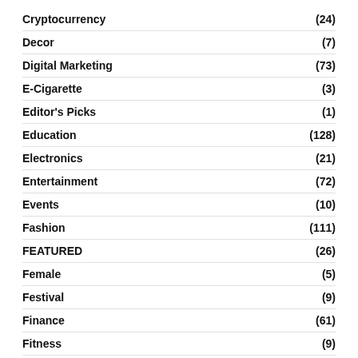Cryptocurrency (24)
Decor (7)
Digital Marketing (73)
E-Cigarette (3)
Editor's Picks (1)
Education (128)
Electronics (21)
Entertainment (72)
Events (10)
Fashion (111)
FEATURED (26)
Female (5)
Festival (9)
Finance (61)
Fitness (9)
Food (36)